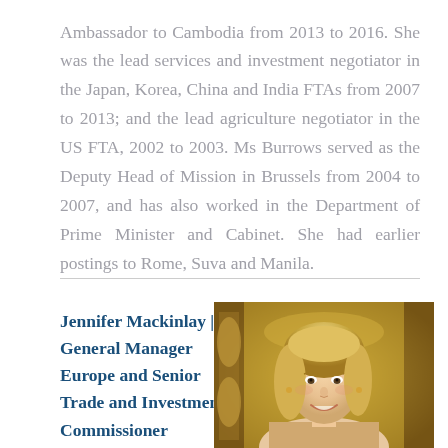Ambassador to Cambodia from 2013 to 2016. She was the lead services and investment negotiator in the Japan, Korea, China and India FTAs from 2007 to 2013; and the lead agriculture negotiator in the US FTA, 2002 to 2003. Ms Burrows served as the Deputy Head of Mission in Brussels from 2004 to 2007, and has also worked in the Department of Prime Minister and Cabinet. She had earlier postings to Rome, Suva and Manila.
Jennifer Mackinlay | General Manager Europe and Senior Trade and Investment Commissioner
[Figure (photo): Portrait photo of Jennifer Mackinlay, a woman with blonde hair smiling, against an ornate golden decorative background.]